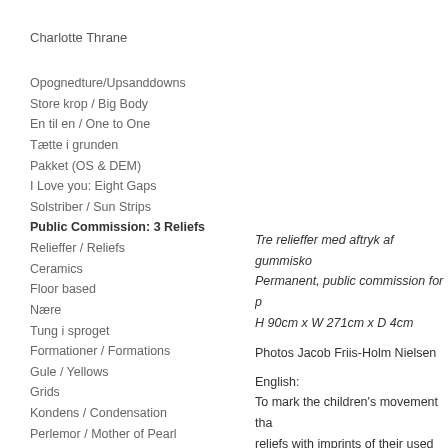Charlotte Thrane
Opognedture/Upsanddowns
Store krop / Big Body
En til en / One to One
Tætte i grunden
Pakket (OS & DEM)
I Love you: Eight Gaps
Solstriber / Sun Strips
Public Commission: 3 Reliefs
Relieffer / Reliefs
Ceramics
Floor based
Nære
Tung i sproget
Formationer / Formations
Gule / Yellows
Grids
Kondens / Condensation
Perlemor / Mother of Pearl
Ud med det... /Out with it...
Gode gamle fejl / Good Old..
Hele armen
Tre relieffer med aftryk af gummisko Permanent, public commission for p H 90cm x W 271cm x D 4cm
Photos Jacob Friis-Holm Nielsen
English: To mark the children's movement tha reliefs with imprints of their used trai contains traces of the hand's work w each relief, the shoes lie closely tog form a community. The reliefs could something about who we are and ho